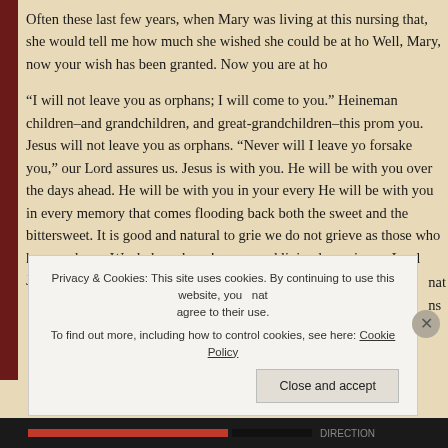Often these last few years, when Mary was living at this nursing that, she would tell me how much she wished she could be at ho Well, Mary, now your wish has been granted. Now you are at ho
“I will not leave you as orphans; I will come to you.” Heineman children–and grandchildren, and great-grandchildren–this prom you. Jesus will not leave you as orphans. “Never will I leave yo forsake you,” our Lord assures us. Jesus is with you. He will be with you over the days ahead. He will be with you in your every He will be with you in every memory that comes flooding back both the sweet and the bittersweet. It is good and natural to grie we do not grieve as those who have no hope. We do have hope! a sure and living hope, in our Lord Jesus Christ!
Privacy & Cookies: This site uses cookies. By continuing to use this website, you agree to their use. To find out more, including how to control cookies, see here: Cookie Policy
Close and accept